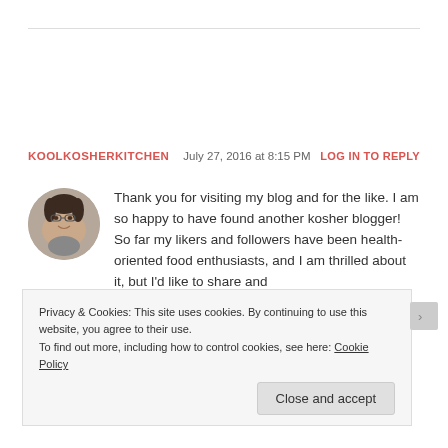KOOLKOSHERKITCHEN   July 27, 2016 at 8:15 PM   LOG IN TO REPLY
[Figure (photo): Circular avatar photo of a woman with short dark hair and glasses]
Thank you for visiting my blog and for the like. I am so happy to have found another kosher blogger! So far my likers and followers have been health-oriented food enthusiasts, and I am thrilled about it, but I'd like to share and
Privacy & Cookies: This site uses cookies. By continuing to use this website, you agree to their use.
To find out more, including how to control cookies, see here: Cookie Policy
Close and accept